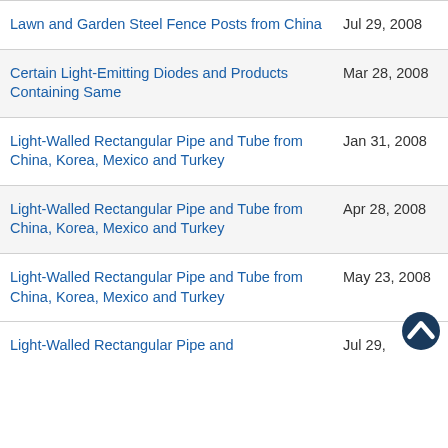Lawn and Garden Steel Fence Posts from China
Certain Light-Emitting Diodes and Products Containing Same
Light-Walled Rectangular Pipe and Tube from China, Korea, Mexico and Turkey
Light-Walled Rectangular Pipe and Tube from China, Korea, Mexico and Turkey
Light-Walled Rectangular Pipe and Tube from China, Korea, Mexico and Turkey
Light-Walled Rectangular Pipe and